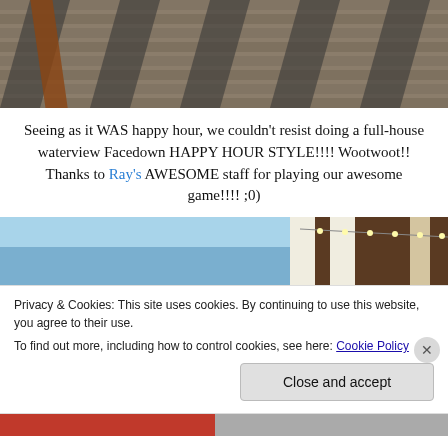[Figure (photo): Overhead view of a wooden deck/boardwalk with shadows cast across the planks]
Seeing as it WAS happy hour, we couldn't resist doing a full-house waterview Facedown HAPPY HOUR STYLE!!!! Wootwoot!!  Thanks to Ray's AWESOME staff for playing our awesome game!!!!  ;0)
[Figure (photo): Exterior view of a building with string lights and blue sky background]
Privacy & Cookies: This site uses cookies. By continuing to use this website, you agree to their use.
To find out more, including how to control cookies, see here: Cookie Policy
Close and accept